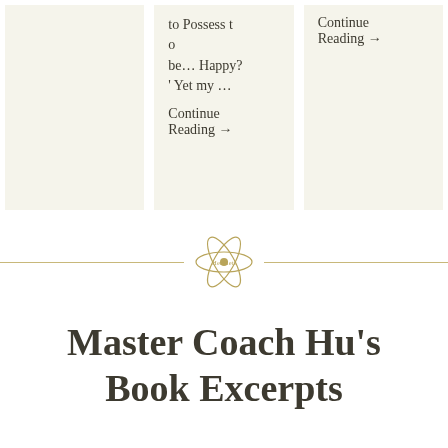to Possess to be... Happy? ' Yet my ...
Continue Reading →
Continue Reading →
[Figure (logo): HerMetist atom/orbital logo with text]
Master Coach Hu's Book Excerpts